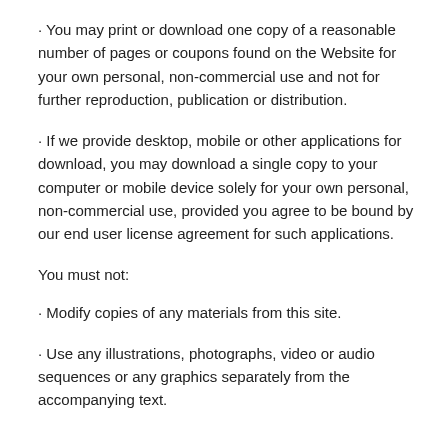· You may print or download one copy of a reasonable number of pages or coupons found on the Website for your own personal, non-commercial use and not for further reproduction, publication or distribution.
· If we provide desktop, mobile or other applications for download, you may download a single copy to your computer or mobile device solely for your own personal, non-commercial use, provided you agree to be bound by our end user license agreement for such applications.
You must not:
· Modify copies of any materials from this site.
· Use any illustrations, photographs, video or audio sequences or any graphics separately from the accompanying text.